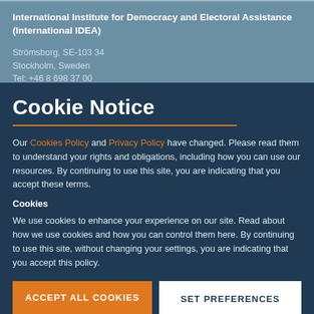International Institute for Democracy and Electoral Assistance (International IDEA)
Strömsborg, SE-103 34
Stockholm, Sweden
Tel: +46 8 698 37 00
Cookie Notice
Our Cookies Policy and Privacy Policy have changed. Please read them to understand your rights and obligations, including how you can use our resources. By continuing to use this site, you are indicating that you accept these terms.
Cookies
We use cookies to enhance your experience on our site. Read about how we use cookies and how you can control them here. By continuing to use this site, without changing your settings, you are indicating that you accept this policy.